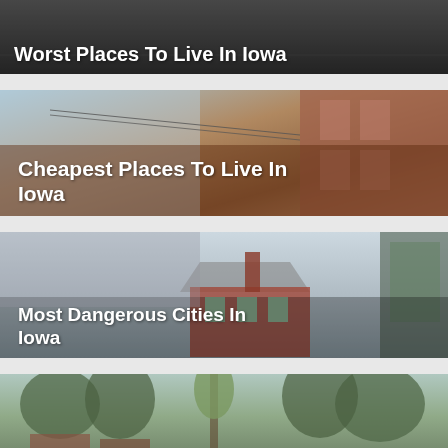[Figure (photo): Dark gray urban street scene with text overlay 'Worst Places To Live In Iowa']
[Figure (photo): Brown brick building street scene in Iowa with text overlay 'Cheapest Places To Live In Iowa']
[Figure (photo): Light misty scene with a red house and chimney, text overlay 'Most Dangerous Cities In Iowa']
[Figure (photo): Green tree-lined street scene with text overlay 'Safest Places In Iowa']